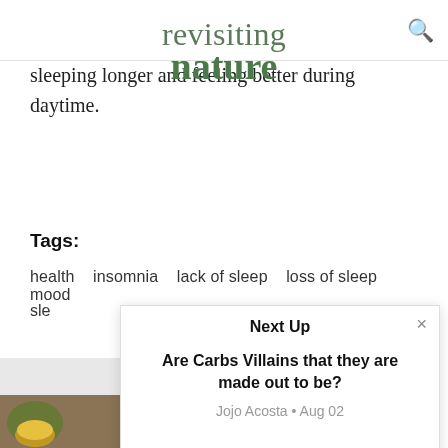revisiting
nature
sleeping longer and feeling better during daytime.
Tags:
health   insomnia   lack of sleep   loss of sleep   mood
sle
Next Up
Are Carbs Villains that they are made out to be?
Jojo Acosta • Aug 02